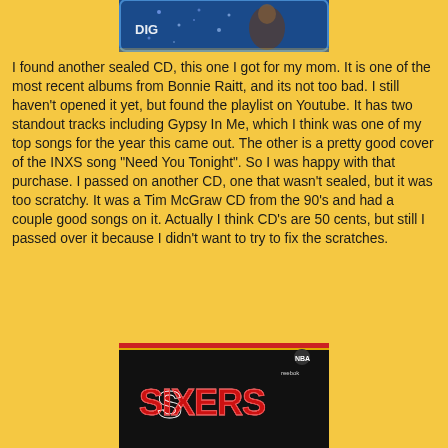[Figure (photo): Partial photo of a CD or card item with blue background, text 'DIG' visible]
I found another sealed CD, this one I got for my mom.  It is one of the most recent albums from Bonnie Raitt, and its not too bad.  I still haven't opened it yet, but found the playlist on Youtube.  It has two standout tracks including Gypsy In Me, which I think was one of my top songs for the year this came out.  The other is a pretty good cover of the INXS song "Need You Tonight".  So I was happy with that purchase.  I passed on another CD, one that wasn't sealed, but it was too scratchy.  It was a Tim McGraw CD from the 90's and had a couple good songs on it.  Actually I think CD's are 50 cents, but still I passed over it because I didn't want to try to fix the scratches.
[Figure (photo): Bottom portion of a Philadelphia 76ers NBA jersey (Sixers), black color with red and white lettering, Reebok logo visible]